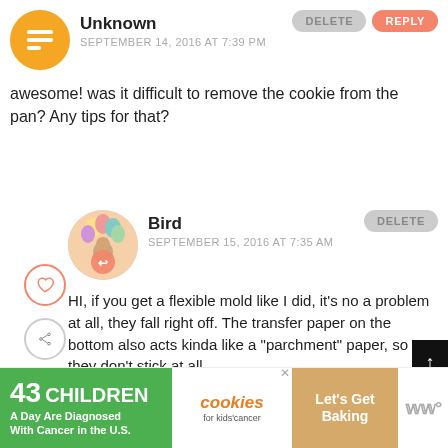[Figure (illustration): Blogger avatar - orange circle with white 'B' blogger logo icon]
Unknown
SEPTEMBER 14, 2016 AT 7:39 PM
DELETE
REPLY
awesome! was it difficult to remove the cookie from the pan? Any tips for that?
[Figure (photo): Profile photo of Bird - woman with colorful balloons]
Bird
SEPTEMBER 15, 2016 AT 7:35 AM
DELETE
HI, if you get a flexible mold like I did, it's no a problem at all, they fall right off. The transfer paper on the bottom also acts kinda like a "parchment" paper, so they don't stick at all.
WHAT'S NEXT → How To Make a DIY...
[Figure (screenshot): Ad banner: 43 Children A Day Are Diagnosed With Cancer In the U.S. - cookies for kids cancer - Let's Get Baking]